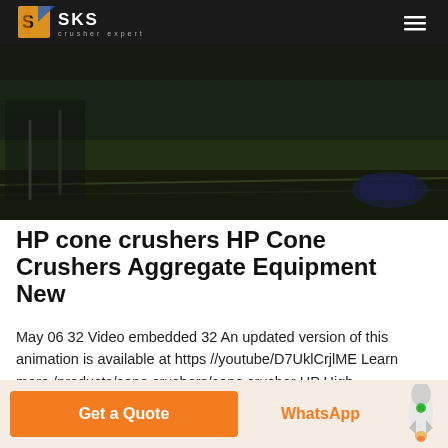[Figure (screenshot): SKS Crusher Expert website header with dark background showing logo and hamburger menu, with a dark moody industrial/racing background hero image]
HP cone crushers HP Cone Crushers Aggregate Equipment New
May 06 32 Video embedded 32 An updated version of this animation is available at https //youtube/D7UklCrjlME Learn more /products/cone crushers/cone crusher HP High Performance Series cone crushers are the best available choice for the aggregate and mining market HP Series features a unique combination of
Get a Quote
WhatsApp